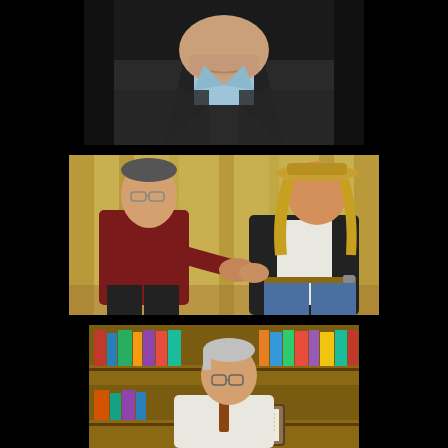[Figure (photo): Close-up portrait photo of a man in a dark suit jacket with a light blue open-collar shirt, cropped at the chin and chest area, dark background]
[Figure (photo): Two men shaking hands in front of a yellow curtain backdrop. Left man wears glasses and a dark red/maroon shirt with black pants. Right man wears a straw hat, has long blond hair, white open shirt, jeans, and a dark jacket.]
[Figure (photo): Older man with glasses wearing a white shirt and tie, seated and looking down at papers or a document on a desk, with bookshelves filled with colorful books in the background]